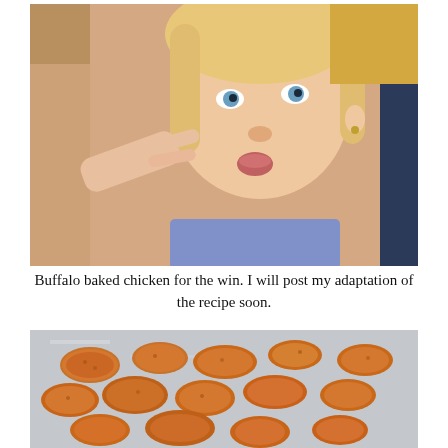[Figure (photo): Close-up photo of a young blonde girl with blue eyes pointing her finger, with another person partially visible on the left side. Background shows a kitchen-like setting.]
Buffalo baked chicken for the win. I will post my adaptation of the recipe soon.
[Figure (photo): Photo of breaded buffalo baked chicken pieces laid out on aluminum foil on a baking sheet. The pieces are golden-orange and coated in breadcrumbs.]